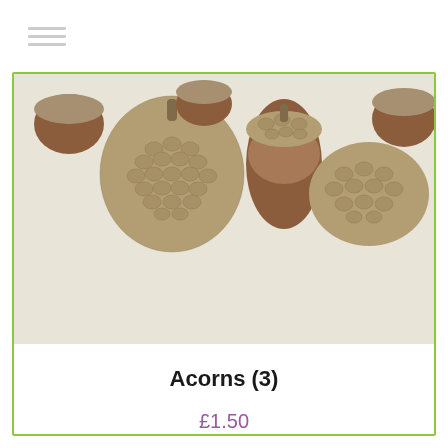≡ (hamburger menu icon)
[Figure (photo): Close-up photograph of three acorns with their caps on a white surface]
Acorns (3)
£1.50